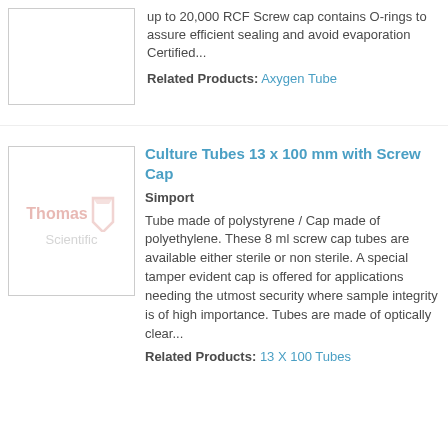up to 20,000 RCF Screw cap contains O-rings to assure efficient sealing and avoid evaporation Certified...
Related Products: Axygen Tube
[Figure (photo): Thomas Scientific product image placeholder with Thomas Scientific watermark logo]
Culture Tubes 13 x 100 mm with Screw Cap
Simport
Tube made of polystyrene / Cap made of polyethylene. These 8 ml screw cap tubes are available either sterile or non sterile. A special tamper evident cap is offered for applications needing the utmost security where sample integrity is of high importance. Tubes are made of optically clear...
Related Products: 13 X 100 Tubes